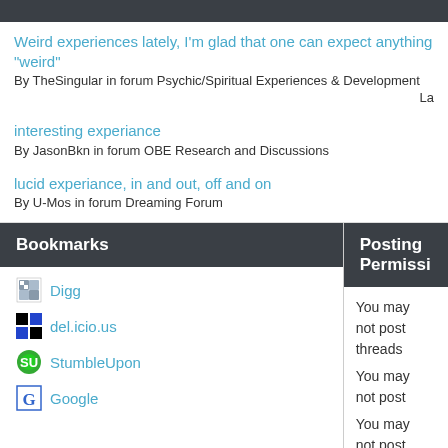Weird experiences lately, I'm glad that one can expect anything "weird"
By TheSingular in forum Psychic/Spiritual Experiences & Development
La
interesting experiance
By JasonBkn in forum OBE Research and Discussions
lucid experiance, in and out, off and on
By U-Mos in forum Dreaming Forum
Bookmarks
Posting Permissi
Digg
del.icio.us
StumbleUpon
Google
You may not post threads
You may not post
You may not post attachments
You may not edit y posts